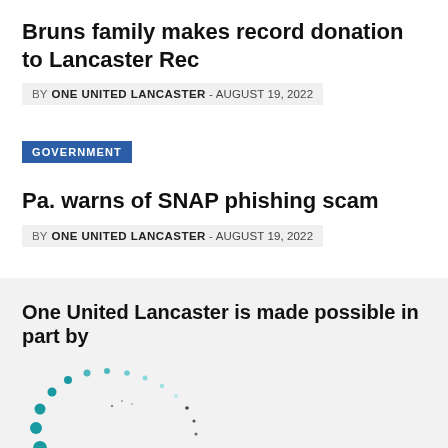Bruns family makes record donation to Lancaster Rec
BY ONE UNITED LANCASTER - AUGUST 19, 2022
GOVERNMENT
Pa. warns of SNAP phishing scam
BY ONE UNITED LANCASTER - AUGUST 19, 2022
One United Lancaster is made possible in part by
[Figure (logo): Excentia logo with dotted arc pattern and teal/dark dots]